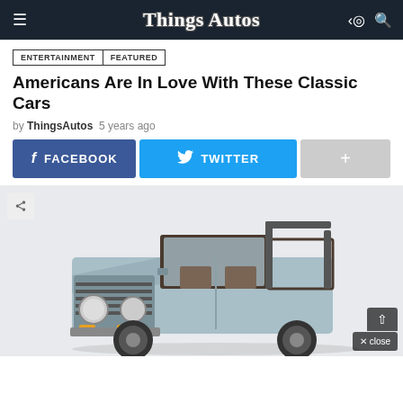Things Autos
ENTERTAINMENT  FEATURED
Americans Are In Love With These Classic Cars
by ThingsAutos  5 years ago
FACEBOOK  TWITTER  +
[Figure (photo): A classic Ford Bronco in light blue/silver color, topless with roll bar visible, large off-road tires, photographed from a front three-quarter angle on a white background]